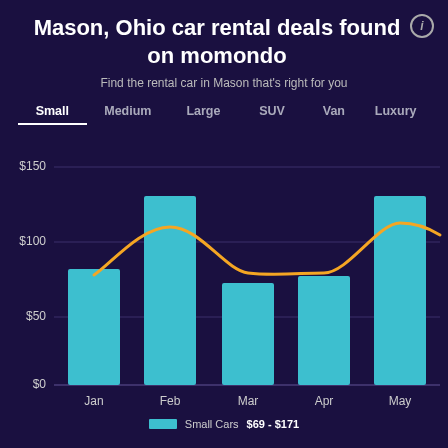Mason, Ohio car rental deals found on momondo
Find the rental car in Mason that's right for you
[Figure (bar-chart): Small car rental prices by month]
Small Cars   $69 - $171